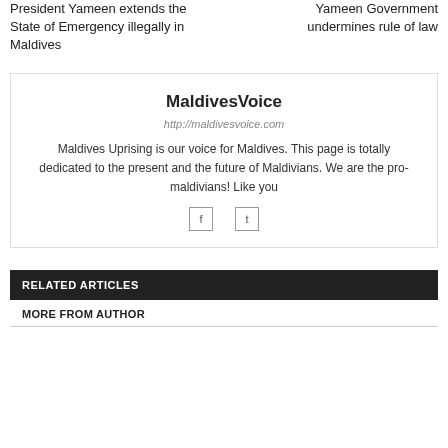President Yameen extends the State of Emergency illegally in Maldives
Yameen Government undermines rule of law
MaldivesVoice
http://maldivesvoice.com
Maldives Uprising is our voice for Maldives. This page is totally dedicated to the present and the future of Maldivians. We are the pro-maldivians! Like you
[Figure (other): Two small social media icon buttons (Facebook and Twitter) centered below author bio]
RELATED ARTICLES
MORE FROM AUTHOR